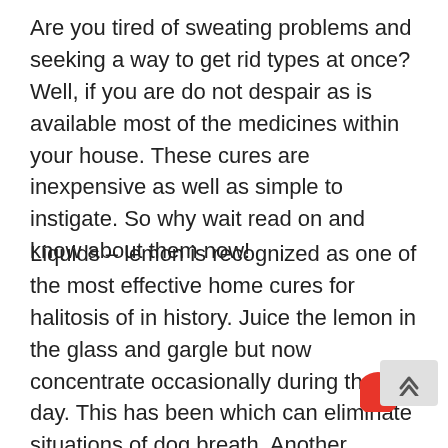Are you tired of sweating problems and seeking a way to get rid types at once? Well, if you are do not despair as is available most of the medicines within your house. These cures are inexpensive as well as simple to instigate. So why wait read on and know about them now!
Liquids – lemon is recognized as one of the most effective home cures for halitosis of in history. Juice the lemon in the glass and gargle but now concentrate occasionally during the day. This has been which can eliminate situations of dog breath. Another effective remedy to do this condition usually drink unsweetened green tea, or a tea product of Fenugreek plant seeds. Both are g the best solutions that you could try.